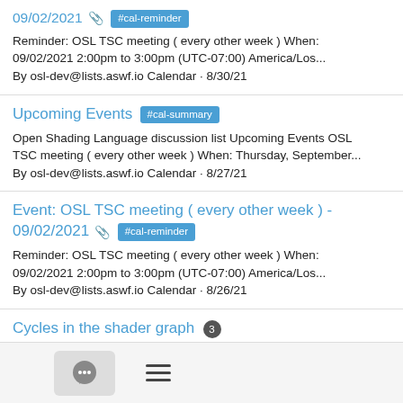09/02/2021 📎 #cal-reminder
Reminder: OSL TSC meeting ( every other week ) When: 09/02/2021 2:00pm to 3:00pm (UTC-07:00) America/Los...
By osl-dev@lists.aswf.io Calendar · 8/30/21
Upcoming Events #cal-summary
Open Shading Language discussion list Upcoming Events OSL TSC meeting ( every other week ) When: Thursday, September...
By osl-dev@lists.aswf.io Calendar · 8/27/21
Event: OSL TSC meeting ( every other week ) - 09/02/2021 📎 #cal-reminder
Reminder: OSL TSC meeting ( every other week ) When: 09/02/2021 2:00pm to 3:00pm (UTC-07:00) America/Los...
By osl-dev@lists.aswf.io Calendar · 8/26/21
Cycles in the shader graph 3
Consider the following: Shader A has parameters: diff, diff_tex, and diff_value Shader B has parameters: value, tex, and output...